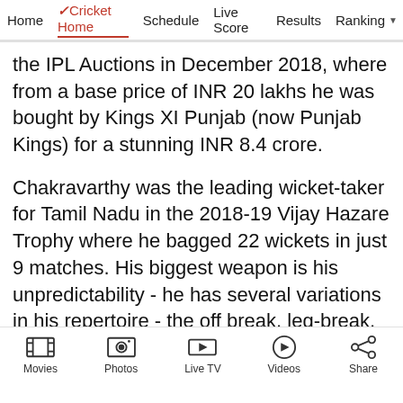Home | Cricket Home | Schedule | Live Score | Results | Ranking
the IPL Auctions in December 2018, where from a base price of INR 20 lakhs he was bought by Kings XI Punjab (now Punjab Kings) for a stunning INR 8.4 crore.
Chakravarthy was the leading wicket-taker for Tamil Nadu in the 2018-19 Vijay Hazare Trophy where he bagged 22 wickets in just 9 matches. His biggest weapon is his unpredictability - he has several variations in his repertoire - the off break, leg-break, googly, carrom ball, flipper, top-spinner and a slider - which makes it
Movies | Photos | Live TV | Videos | Share